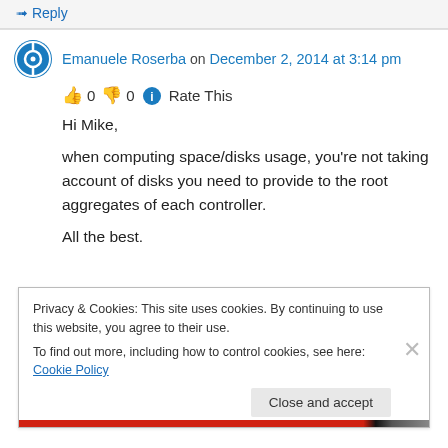↳ Reply
Emanuele Roserba on December 2, 2014 at 3:14 pm
👍 0 👎 0 ℹ Rate This
Hi Mike,
when computing space/disks usage, you're not taking account of disks you need to provide to the root aggregates of each controller.

All the best.
Privacy & Cookies: This site uses cookies. By continuing to use this website, you agree to their use.
To find out more, including how to control cookies, see here: Cookie Policy